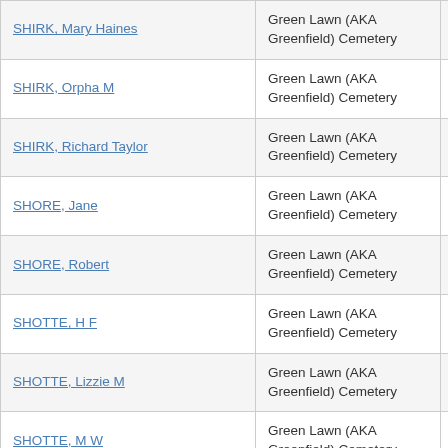| SHIRK, Mary Haines | Green Lawn (AKA Greenfield) Cemetery | Elk |
| SHIRK, Orpha M | Green Lawn (AKA Greenfield) Cemetery | Elk |
| SHIRK, Richard Taylor | Green Lawn (AKA Greenfield) Cemetery | Elk |
| SHORE, Jane | Green Lawn (AKA Greenfield) Cemetery | Elk |
| SHORE, Robert | Green Lawn (AKA Greenfield) Cemetery | Elk |
| SHOTTE, H F | Green Lawn (AKA Greenfield) Cemetery | Elk |
| SHOTTE, Lizzie M | Green Lawn (AKA Greenfield) Cemetery | Elk |
| SHOTTE, M W | Green Lawn (AKA Greenfield) Cemetery | Elk |
| SHOWN, Peter (Veteran Union) | Green Lawn (AKA Greenfield) Cemetery | Elk |